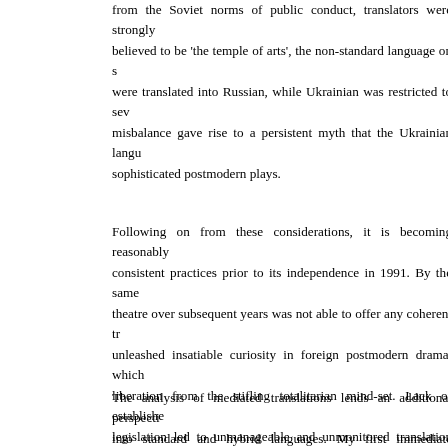from the Soviet norms of public conduct, translators were strongly believed to be 'the temple of arts', the non-standard language on s were translated into Russian, while Ukrainian was restricted to sev misbalance gave rise to a persistent myth that the Ukrainian langu sophisticated postmodern plays.
Following on from these considerations, it is becoming reasonably consistent practices prior to its independence in 1991. By the same theatre over subsequent years was not able to offer any coherent tr unleashed insatiable curiosity in foreign postmodern drama, which liberation from the stifling totalitarian mind-set. Lack of establishe legislation led to unmanageable and unmonitored translation practi assumed the role of translators, editors, and co-authors. After the c became a hegemonic practice to translate foreign plays into Ukrain improved. Currently, translations from Russian are still being prac translation has become an integral part of Ukrainian theatre system English-Ukrainian translations of theatre texts, I will offer some g
The analysis of mediated translations lends an additional perspecti into standard and hybrid languages. My first immediate observatio play is re-translated from translation. In quantitative terms, in seve Ukrainian, 100 per cent of all mistranslations, which were noticed addition, the translators made 45 semantic mistakes in total (rangi into Ukrainian, which were caused either by the miscomprehension the translations in question were made by amateur translators, the particularly on a syntactic level, was pervasive. This way, linguis